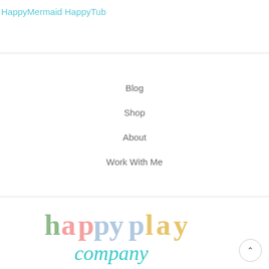HappyMermaid HappyTub
Blog
Shop
About
Work With Me
[Figure (logo): Happy Play Company logo with colorful letters spelling 'happyplay' and the word 'company' below in teal cursive script]